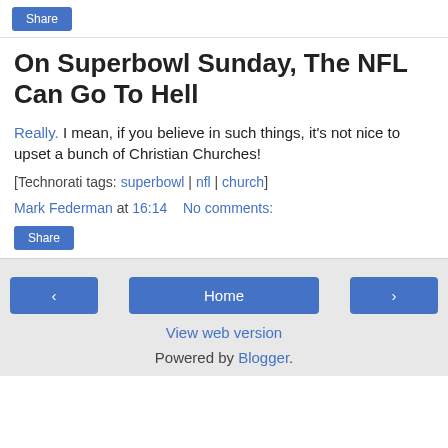Share
On Superbowl Sunday, The NFL Can Go To Hell
Really. I mean, if you believe in such things, it's not nice to upset a bunch of Christian Churches!
[Technorati tags: superbowl | nfl | church]
Mark Federman at 16:14   No comments:
Share
< Home > View web version Powered by Blogger.